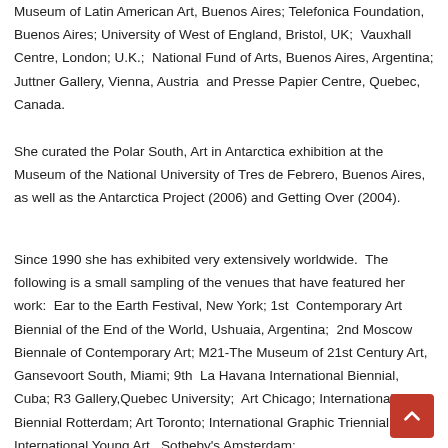Museum of Latin American Art, Buenos Aires; Telefonica Foundation, Buenos Aires; University of West of England, Bristol, UK;  Vauxhall Centre, London; U.K.;  National Fund of Arts, Buenos Aires, Argentina; Juttner Gallery, Vienna, Austria  and Presse Papier Centre, Quebec, Canada.
She curated the Polar South, Art in Antarctica exhibition at the Museum of the National University of Tres de Febrero, Buenos Aires, as well as the Antarctica Project (2006) and Getting Over (2004).
Since 1990 she has exhibited very extensively worldwide.  The following is a small sampling of the venues that have featured her work:  Ear to the Earth Festival, New York; 1st  Contemporary Art Biennial of the End of the World, Ushuaia, Argentina;  2nd Moscow Biennale of Contemporary Art; M21-The Museum of 21st Century Art, Gansevoort South, Miami; 9th  La Havana International Biennial, Cuba; R3 Gallery,Quebec University;  Art Chicago; International Biennial Rotterdam; Art Toronto; International Graphic Triennial, Tallin; International Young Art,  Sotheby's Amsterdam;